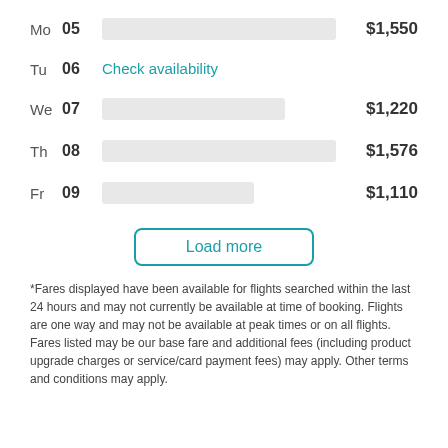Mo 05 $1,550
Tu 06 Check availability
We 07 $1,220
Th 08 $1,576
Fr 09 $1,110
Load more
*Fares displayed have been available for flights searched within the last 24 hours and may not currently be available at time of booking. Flights are one way and may not be available at peak times or on all flights. Fares listed may be our base fare and additional fees (including product upgrade charges or service/card payment fees) may apply. Other terms and conditions may apply.